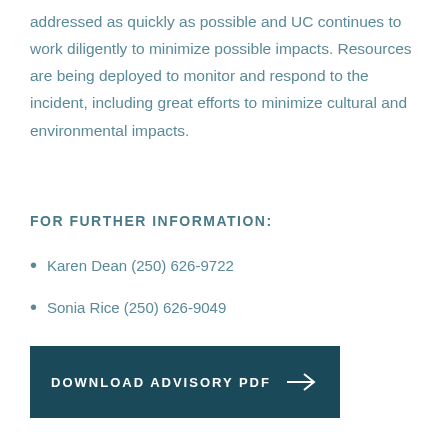addressed as quickly as possible and UC continues to work diligently to minimize possible impacts. Resources are being deployed to monitor and respond to the incident, including great efforts to minimize cultural and environmental impacts.
FOR FURTHER INFORMATION:
Karen Dean (250) 626-9722
Sonia Rice (250) 626-9049
[Figure (other): Dark teal button with text 'DOWNLOAD ADVISORY PDF' and a right-pointing arrow]